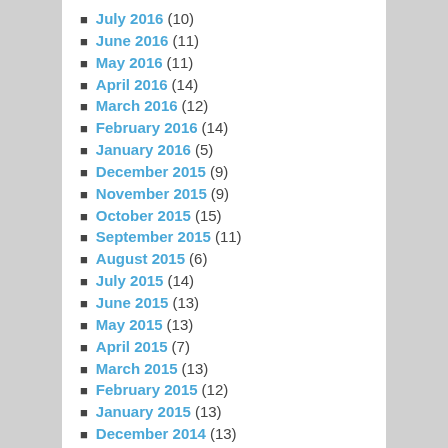July 2016 (10)
June 2016 (11)
May 2016 (11)
April 2016 (14)
March 2016 (12)
February 2016 (14)
January 2016 (5)
December 2015 (9)
November 2015 (9)
October 2015 (15)
September 2015 (11)
August 2015 (6)
July 2015 (14)
June 2015 (13)
May 2015 (13)
April 2015 (7)
March 2015 (13)
February 2015 (12)
January 2015 (13)
December 2014 (13)
November 2014 (11)